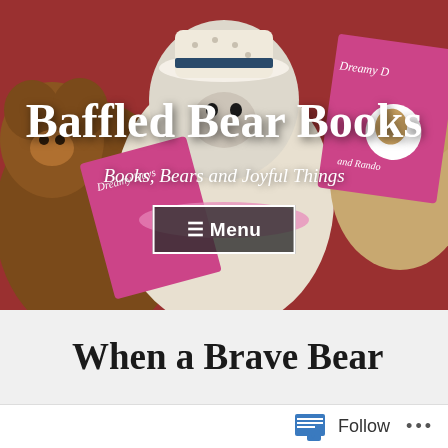[Figure (photo): Header photo of teddy bears holding pink books titled 'Dreamy Days and Random...' with a white fluffy bear wearing a striped hat in the center, on a red background.]
Baffled Bear Books
Books, Bears and Joyful Things
≡ Menu
When a Brave Bear
Follow ···